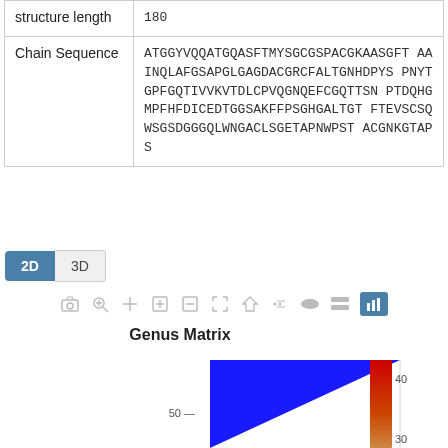|  |  |
| --- | --- |
| structure length | 180 |
| Chain Sequence | ATGGYVQQATGQASFTMYSGCGSPACGKAASGFTAAINQLAFGSAPGLGAGDACGRCFALTGNHDPYSPNYTGPFGQTIVVKVTDLCPVQGNQEFCGQTTSNPTDQHGMPFHFDICEDTGGSAKFFPSGHGALTGTFTEVSCSQWSGSDGGGQLWNGACLSGETAPNWPSTACGNKGTAPS |
[Figure (other): 2D/3D view toggle buttons with 2D selected (blue) and 3D unselected]
[Figure (other): Toolbar with icons: camera, zoom, pan, zoom-in, zoom-out, fit, home, dots, oval, stack, bar-chart (active/blue)]
Genus Matrix
[Figure (other): Partial view of a Genus Matrix heatmap showing a blue triangular region in the lower-left and a red-to-orange color scale bar on the right with values 40 and 30 visible, and y-axis label showing 50]